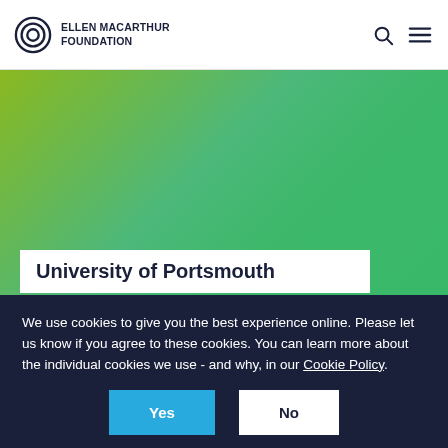ELLEN MACARTHUR FOUNDATION
[Figure (screenshot): Green gradient hero image background with lime green to green gradient]
University of Portsmouth
We use cookies to give you the best experience online. Please let us know if you agree to these cookies. You can learn more about the individual cookies we use - and why, in our Cookie Policy.
Yes
No